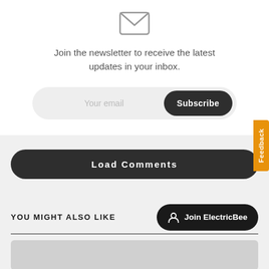[Figure (illustration): Envelope/email icon, outlined style, gray color]
Join the newsletter to receive the latest updates in your inbox.
Your email
Subscribe
Load Comments
YOU MIGHT ALSO LIKE
Join ElectricBee